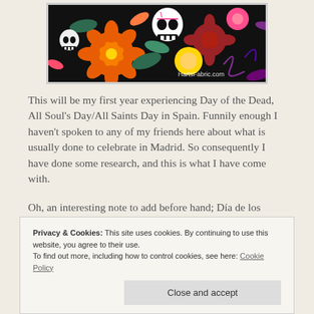[Figure (photo): Colorful Day of the Dead / Día de los Muertos fabric featuring skulls, flowers, and decorative patterns on a black background. Watermark reads HartsFabric.com]
This will be my first year experiencing Day of the Dead, All Soul's Day/All Saints Day in Spain. Funnily enough I haven't spoken to any of my friends here about what is usually done to celebrate in Madrid. So consequently I have done some research, and this is what I have come with.
Oh, an interesting note to add before hand; Día de los Muertos has an uncanny resemblance to original Celtic celebrations,
Privacy & Cookies: This site uses cookies. By continuing to use this website, you agree to their use.
To find out more, including how to control cookies, see here: Cookie Policy

Close and accept